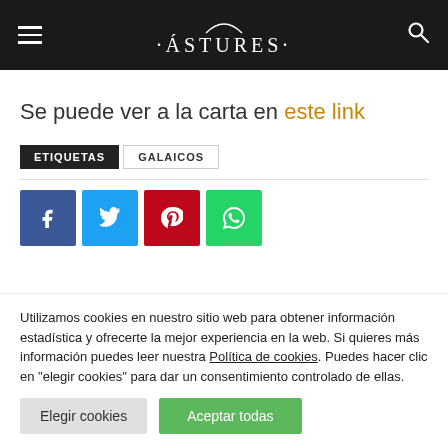·ÁSTURES·
Se puede ver a la carta en este link
ETIQUETAS   GALAICOS
[Figure (other): Social share buttons: Facebook (blue), Twitter (light blue), Pinterest (red), WhatsApp (green)]
Utilizamos cookies en nuestro sitio web para obtener información estadística y ofrecerte la mejor experiencia en la web. Si quieres más información puedes leer nuestra Política de cookies. Puedes hacer clic en "elegir cookies" para dar un consentimiento controlado de ellas.
Elegir cookies   Aceptar todas